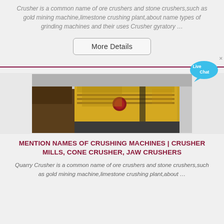Crusher is a common name of ore crushers and stone crushers,such as gold mining machine,limestone crushing plant,about name types of grinding machines and their uses Crusher gyratory …
More Details
[Figure (photo): Industrial yellow crushing machine photographed from below against a grey sky, showing heavy machinery structure.]
MENTION NAMES OF CRUSHING MACHINES | CRUSHER MILLS, CONE CRUSHER, JAW CRUSHERS
Quarry Crusher is a common name of ore crushers and stone crushers,such as gold mining machine,limestone crushing plant,about …